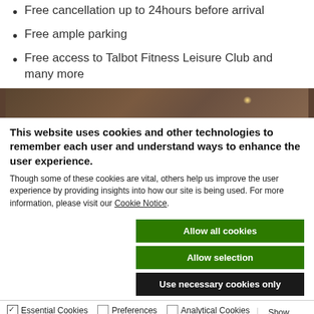Free cancellation up to 24hours before arrival
Free ample parking
Free access to Talbot Fitness Leisure Club and many more
[Figure (photo): Dark interior photo strip, dimly lit room with a faint warm light glow]
This website uses cookies and other technologies to remember each user and understand ways to enhance the user experience.
Though some of these cookies are vital, others help us improve the user experience by providing insights into how our site is being used. For more information, please visit our Cookie Notice.
Allow all cookies
Allow selection
Use necessary cookies only
Essential Cookies  Preferences  Analytical Cookies  Marketing Cookies  Show details